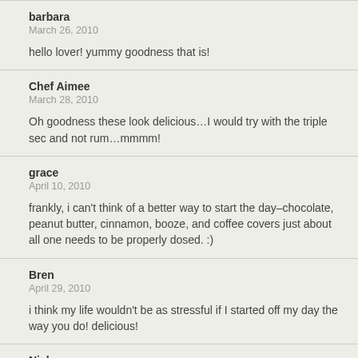barbara
March 26, 2010
hello lover! yummy goodness that is!
Chef Aimee
March 28, 2010
Oh goodness these look delicious…I would try with the triple sec and not rum…mmmm!
grace
April 10, 2010
frankly, i can't think of a better way to start the day–chocolate, peanut butter, cinnamon, booze, and coffee covers just about all one needs to be properly dosed. :)
Bren
April 29, 2010
i think my life wouldn't be as stressful if I started off my day the way you do! delicious!
Nick
April 29, 2010